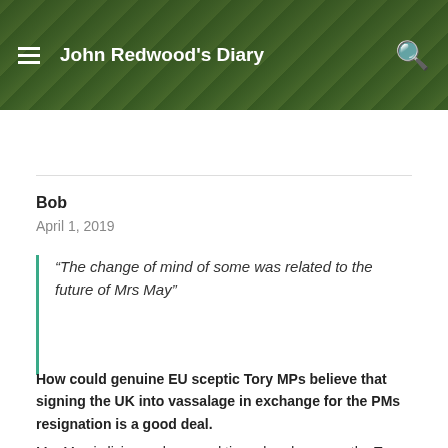John Redwood's Diary
Bob
April 1, 2019
“The change of mind of some was related to the future of Mrs May”
How could genuine EU sceptic Tory MPs believe that signing the UK into vassalage in exchange for the PMs resignation is a good deal.
Mrs May is living on borrowed time already, as are the Tory MPs if they support vassalage.